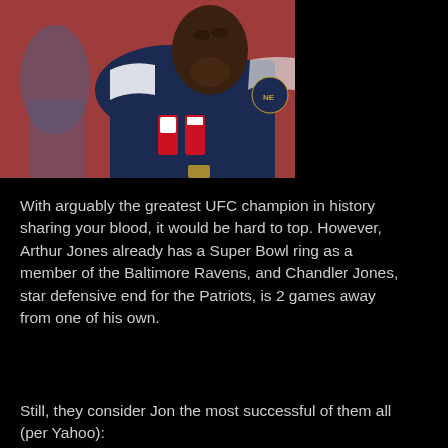[Figure (photo): A football player in a New England Patriots dark navy blue uniform with number 95, photographed on the sideline. The player is a tall, muscular Black man looking upward/sideways. Background shows blurred stadium and other players.]
With arguably the greatest UFC champion in history sharing your blood, it would be hard to top. However, Arthur Jones already has a Super Bowl ring as a member of the Baltimore Ravens, and Chandler Jones, star defensive end for the Patriots, is 2 games away from one of his own.
Still, they consider Jon the most successful of them all (per Yahoo):